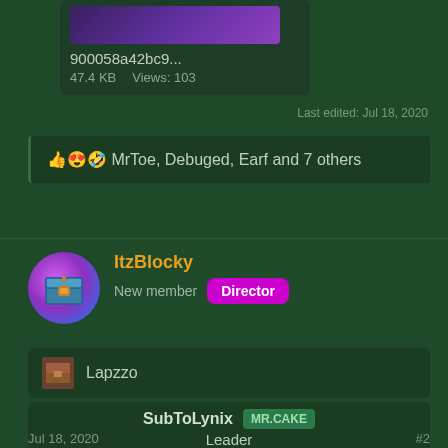[Figure (screenshot): Thumbnail image of an attachment with purple/dark gradient background]
900058a42bc9...
47.4 KB    Views: 103
Last edited: Jul 18, 2020
👍😍🤣 MrToe, Debuged, Earf and 7 others
ItzBlocky
New member   Director
[Figure (illustration): User avatar circle with pink/blue gradient and pixel-art chest icon]
Lapzzo
SubToLynix  MR.CAKE
Leader
Jul 18, 2020
#2